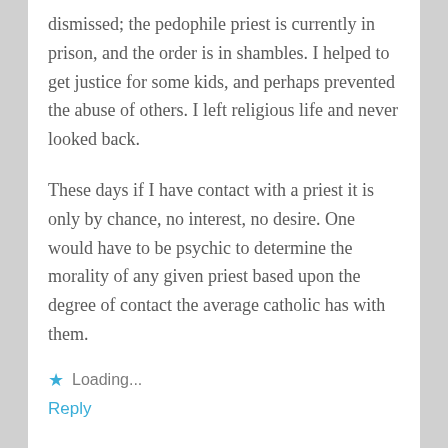dismissed; the pedophile priest is currently in prison, and the order is in shambles. I helped to get justice for some kids, and perhaps prevented the abuse of others. I left religious life and never looked back.
These days if I have contact with a priest it is only by chance, no interest, no desire. One would have to be psychic to determine the morality of any given priest based upon the degree of contact the average catholic has with them.
Loading...
Reply